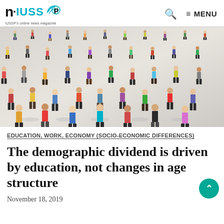n·IUSS — IUSS's online news magazine | Search | MENU
[Figure (photo): Overhead view of a large crowd of diverse miniature figurine people standing on a light grey surface, arranged in a scattered pattern.]
EDUCATION, WORK, ECONOMY (SOCIO-ECONOMIC DIFFERENCES)
The demographic dividend is driven by education, not changes in age structure
November 18, 2019